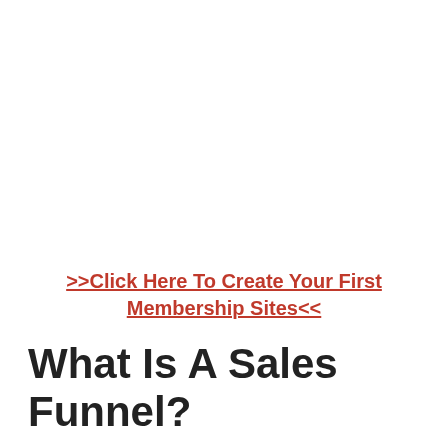>>Click Here To Create Your First Membership Sites<<
What Is A Sales Funnel?
A Sales Funnel is the process that companies use to transform possible